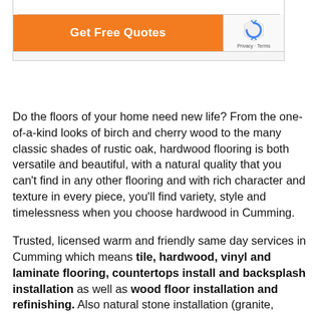[Figure (screenshot): A web form snippet showing an input field, an orange 'Get Free Quotes' button, and a reCAPTCHA widget with Privacy · Terms links.]
Do the floors of your home need new life? From the one-of-a-kind looks of birch and cherry wood to the many classic shades of rustic oak, hardwood flooring is both versatile and beautiful, with a natural quality that you can't find in any other flooring and with rich character and texture in every piece, you'll find variety, style and timelessness when you choose hardwood in Cumming.
Trusted, licensed warm and friendly same day services in Cumming which means tile, hardwood, vinyl and laminate flooring, countertops install and backsplash installation as well as wood floor installation and refinishing. Also natural stone installation (granite, marble, slate) is offered. Happy to do carpet installations and grout cleaning by licensed professionals.